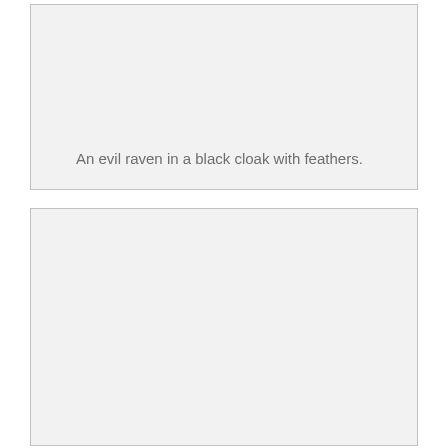[Figure (other): Empty light gray placeholder box (top)]
An evil raven in a black cloak with feathers.
[Figure (other): Empty light gray placeholder box (bottom)]